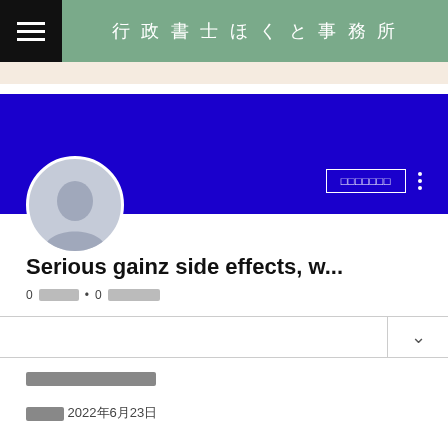行政書士ほくと事務所
[Figure (screenshot): Social media profile page screenshot showing a blue banner, circular avatar silhouette, profile name 'Serious gainz side effects, w...', follower/following counts with redacted labels, a redacted follow button, a dropdown row, and a redacted section title with date 2022年6月23日]
Serious gainz side effects, w...
0 □□□□□ • 0 □□□□□
□□□□□□
□□□□ 2022年6月23日